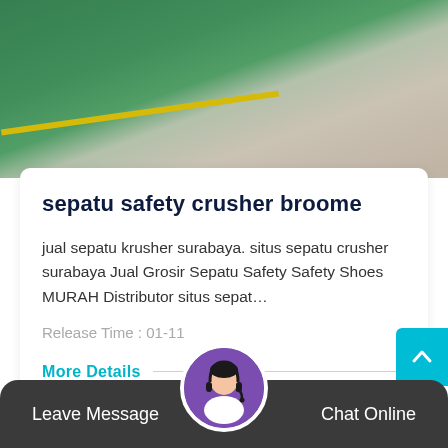[Figure (photo): Top photo showing a warehouse or factory floor with green-painted area and yellow stripe line on concrete.]
sepatu safety crusher broome
jual sepatu krusher surabaya. situs sepatu crusher surabaya Jual Grosir Sepatu Safety Safety Shoes MURAH Distributor situs sepat...
Release Time : 01-11
More Details